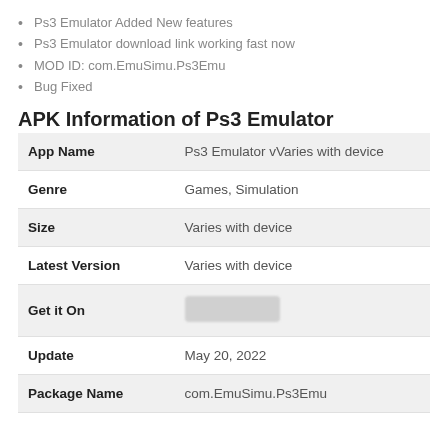Ps3 Emulator Added New features
Ps3 Emulator download link working fast now
MOD ID: com.EmuSimu.Ps3Emu
Bug Fixed
APK Information of Ps3 Emulator
| Field | Value |
| --- | --- |
| App Name | Ps3 Emulator vVaries with device |
| Genre | Games, Simulation |
| Size | Varies with device |
| Latest Version | Varies with device |
| Get it On | [image] |
| Update | May 20, 2022 |
| Package Name | com.EmuSimu.Ps3Emu |